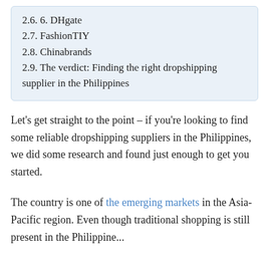2.6. 6. DHgate
2.7. FashionTIY
2.8. Chinabrands
2.9. The verdict: Finding the right dropshipping supplier in the Philippines
Let’s get straight to the point – if you’re looking to find some reliable dropshipping suppliers in the Philippines, we did some research and found just enough to get you started.
The country is one of the emerging markets in the Asia-Pacific region. Even though traditional shopping is still present in the Philippine...